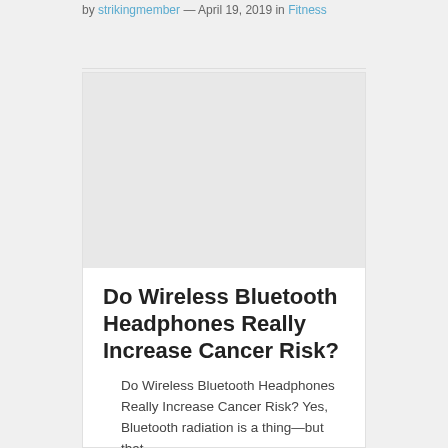by strikingmember — April 19, 2019 in Fitness
[Figure (photo): Image placeholder for article about wireless Bluetooth headphones and cancer risk]
Do Wireless Bluetooth Headphones Really Increase Cancer Risk?
Do Wireless Bluetooth Headphones Really Increase Cancer Risk? Yes, Bluetooth radiation is a thing—but that…
by strikingmember — April 1, 2019 in Fitness